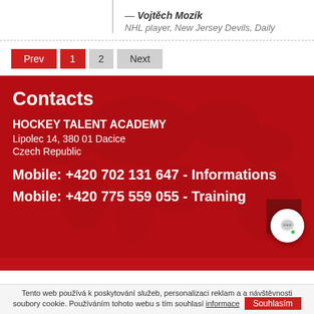— Vojtěch Mozík
NHL player, New Jersey Devils, Daily
Prev 1 2 Next
Contacts
HOCKEY TALENT ACADEMY
Lipolec 14, 380 01 Dacice
Czech Republic
Mobile: +420 702 131 647 - Informations
Mobile: +420 775 559 055 - Training
Tento web používá k poskytování služeb, personalizaci reklam a a návštěvnosti soubory cookie. Používáním tohoto webu s tím souhlasí informace Souhlasím